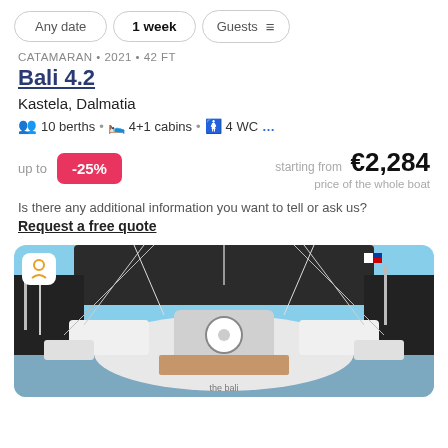Any date | 1 week | Guests | filter icon
CATAMARAN • 2021 • 42 FT
Bali 4.2
Kastela, Dalmatia
10 berths • 4+1 cabins • 4 WC ...
up to -25%   starting from €2,284   price of the whole boat
Is there any additional information you want to tell or ask us?
Request a free quote
[Figure (photo): Photo of a Bali 4.2 catamaran cockpit viewed from stern in a marina, with blue sky, rigging, and other boats visible. White owner badge icon in top-left corner.]